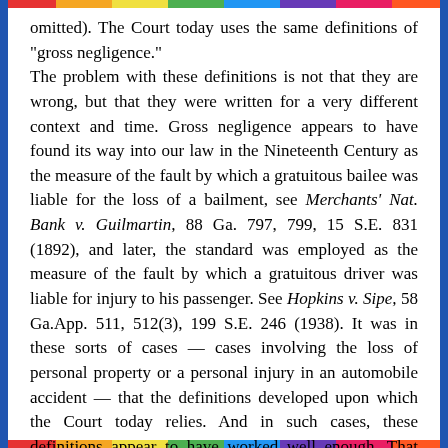omitted). The Court today uses the same definitions of "gross negligence."
The problem with these definitions is not that they are wrong, but that they were written for a very different context and time. Gross negligence appears to have found its way into our law in the Nineteenth Century as the measure of the fault by which a gratuitous bailee was liable for the loss of a bailment, see Merchants' Nat. Bank v. Guilmartin, 88 Ga. 797, 799, 15 S.E. 831 (1892), and later, the standard was employed as the measure of the fault by which a gratuitous driver was liable for injury to his passenger. See Hopkins v. Sipe, 58 Ga.App. 511, 512(3), 199 S.E. 246 (1938). It was in these sorts of cases — cases involving the loss of personal property or a personal injury in an automobile accident — that the definitions developed upon which the Court today relies. And in such cases, these definitions appear to have worked well enough. That they worked well